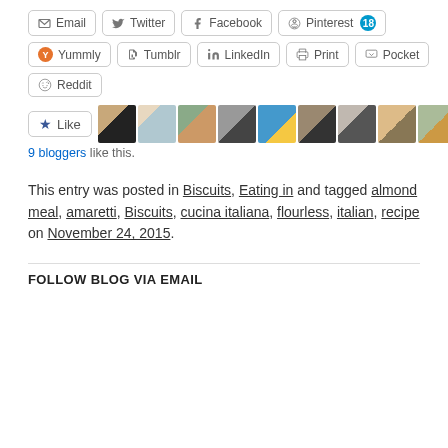[Figure (screenshot): Row of social share buttons: Email, Twitter, Facebook, Pinterest (with count 18)]
[Figure (screenshot): Row of social share buttons: Yummly, Tumblr, LinkedIn, Print, Pocket]
[Figure (screenshot): Reddit share button]
[Figure (screenshot): Like button with star icon and a strip of 9 blogger avatar photos]
9 bloggers like this.
This entry was posted in Biscuits, Eating in and tagged almond meal, amaretti, Biscuits, cucina italiana, flourless, italian, recipe on November 24, 2015.
FOLLOW BLOG VIA EMAIL